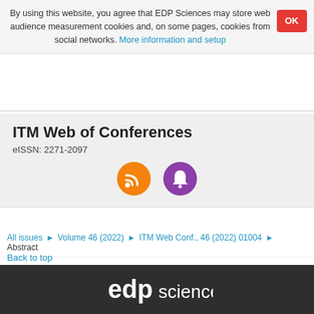By using this website, you agree that EDP Sciences may store web audience measurement cookies and, on some pages, cookies from social networks. More information and setup
ITM Web of Conferences
eISSN: 2271-2097
[Figure (other): Two circular icon buttons: an orange RSS feed icon and a purple bell/notification icon]
All issues > Volume 46 (2022) > ITM Web Conf., 46 (2022) 01004 > Abstract
Back to top
[Figure (logo): EDP Sciences logo in white on dark grey background]